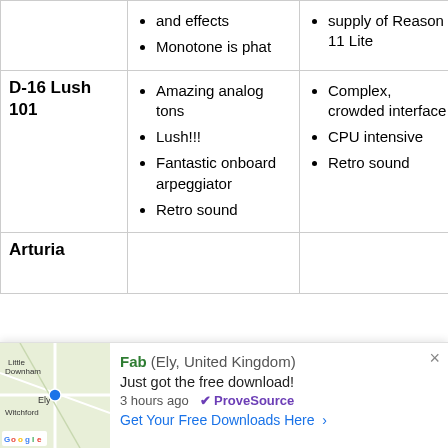| Product | Pros | Cons | Price |
| --- | --- | --- | --- |
|  | and effects
Monotone is phat | supply of Reason 11 Lite |  |
| D-16 Lush 101 | Amazing analog tons
Lush!!!
Fantastic onboard arpeggiator
Retro sound | Complex, crowded interface
CPU intensive
Retro sound | Check Price Now |
| Arturia |  |  | Check Price |
[Figure (screenshot): Notification popup from ProveSource: Fab (Ely, United Kingdom) Just got the free download! 3 hours ago. Get Your Free Downloads Here.]